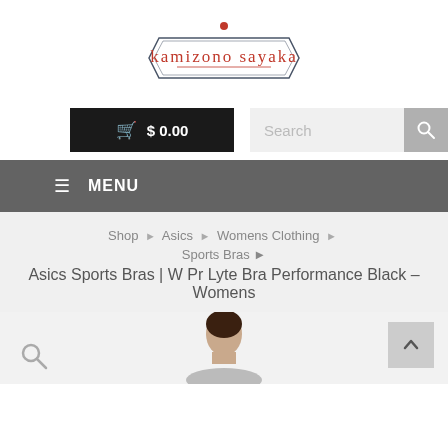[Figure (logo): Kamizono Sayaka brand logo — hexagonal border with red dot on top, red text 'kamizono sayaka' in uppercase serif-style, underlined]
🛒  $ 0.00
Search
☰  MENU
Shop ▶ Asics ▶ Womens Clothing ▶ Sports Bras ▶
Asics Sports Bras | W Pr Lyte Bra Performance Black – Womens
[Figure (photo): Partial product photo showing model wearing a sports bra, only head/shoulders visible at bottom of page]